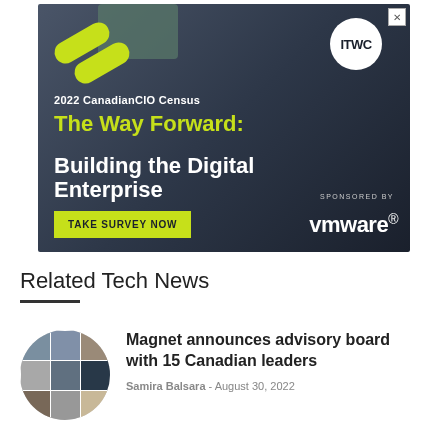[Figure (illustration): Advertisement banner for 2022 CanadianCIO Census: 'The Way Forward: Building the Digital Enterprise'. Contains ITWC logo, green pill graphics, yellow 'TAKE SURVEY NOW' button, 'SPONSORED BY' text, and VMware logo on dark grey/blue gradient background.]
Related Tech News
[Figure (photo): Circular collage of 9 headshot photos of Canadian business leaders arranged in a 3x3 grid, clipped to a circle.]
Magnet announces advisory board with 15 Canadian leaders
Samira Balsara - August 30, 2022